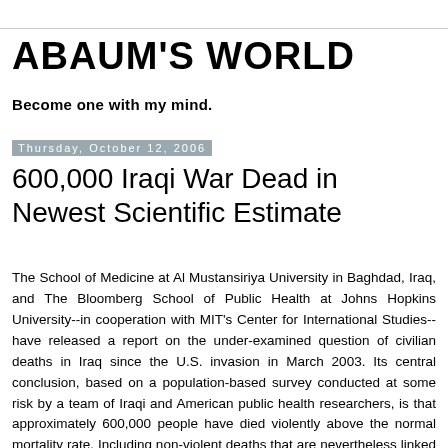ABAUM'S WORLD
Become one with my mind.
Thursday, October 12, 2006
600,000 Iraqi War Dead in Newest Scientific Estimate
The School of Medicine at Al Mustansiriya University in Baghdad, Iraq, and The Bloomberg School of Public Health at Johns Hopkins University--in cooperation with MIT's Center for International Studies--have released a report on the under-examined question of civilian deaths in Iraq since the U.S. invasion in March 2003. Its central conclusion, based on a population-based survey conducted at some risk by a team of Iraqi and American public health researchers, is that approximately 600,000 people have died violently above the normal mortality rate. Including non-violent deaths that are nevertheless linked to the war, the total is estimated to